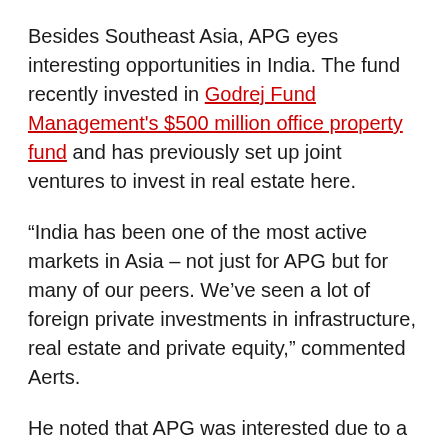Besides Southeast Asia, APG eyes interesting opportunities in India. The fund recently invested in Godrej Fund Management's $500 million office property fund and has previously set up joint ventures to invest in real estate here.
“India has been one of the most active markets in Asia – not just for APG but for many of our peers. We’ve seen a lot of foreign private investments in infrastructure, real estate and private equity,” commented Aerts.
He noted that APG was interested due to a combination of the country's growth potential, its liberal foreign direct investment policy, and the government's apparent desire to encourage further development and economic growth via reforms.